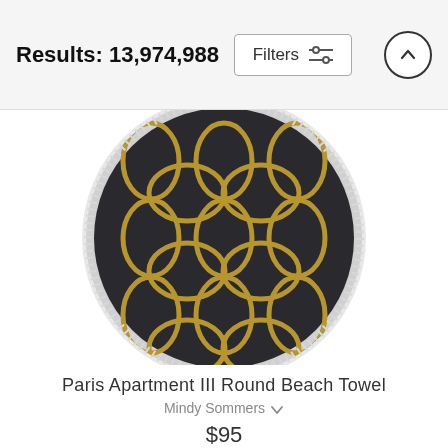Results: 13,974,988
[Figure (screenshot): Filters button with sliders icon and an up-arrow circle button in the header bar]
[Figure (photo): Round beach towel with dark charcoal/black background and gold Moroccan trellis pattern, white fringe border, shown from above]
Paris Apartment III Round Beach Towel
Mindy Sommers
$95